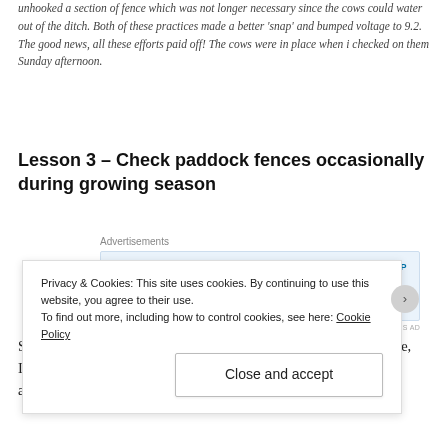unhooked a section of fence which was not longer necessary since the cows could water out of the ditch. Both of these practices made a better 'snap' and bumped voltage to 9.2. The good news, all these efforts paid off! The cows were in place when i checked on them Sunday afternoon.
Lesson 3 – Check paddock fences occasionally during growing season
[Figure (other): Advertisement banner: 'Build a writing habit. Post on the go.' with GET THE APP button and WordPress logo]
Since i've moved the cows to start grazing on their winter stockpile, I've discovered that my 2 wire hi-tensile fences are largely 'down' and/or sagging badly. This is mostly if not
Privacy & Cookies: This site uses cookies. By continuing to use this website, you agree to their use.
To find out more, including how to control cookies, see here: Cookie Policy
Close and accept